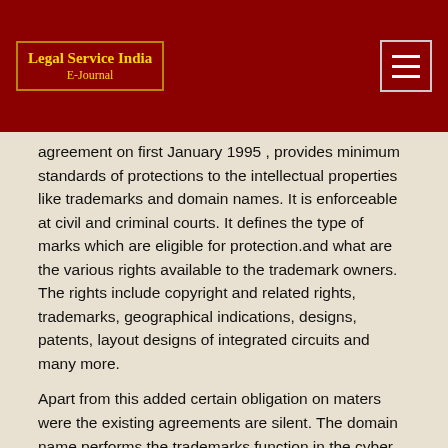[Figure (logo): Legal Service India E-Journal logo with gold text on dark red background with border]
agreement on first January 1995 , provides minimum standards of protections to the intellectual properties like trademarks and domain names. It is enforceable at civil and criminal courts. It defines the type of marks which are eligible for protection.and what are the various rights available to the trademark owners. The rights include copyright and related rights, trademarks, geographical indications, designs, patents, layout designs of integrated circuits and many more.
Apart from this added certain obligation on maters were the existing agreements are silent. The domain name performs the trademarks function in the cyber space. So these rights and protections are also available to the registered owners of domain name. The registered owners have the exclusive right to the domain name it helps to prevent cybersquatting. Even though the TRIPS was negotiated before the e- commerce to an extent it can be used address these cybersquatting like issues.